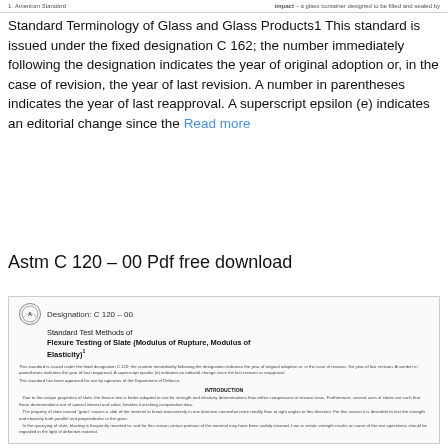1. American Standard   impact — a glass container designed to be filled and sealed by
Standard Terminology of Glass and Glass Products1 This standard is issued under the fixed designation C 162; the number immediately following the designation indicates the year of original adoption or, in the case of revision, the year of last revision. A number in parentheses indicates the year of last reapproval. A superscript epsilon (e) indicates an editorial change since the Read more
Astm C 120 – 00 Pdf free download
[Figure (screenshot): Preview of ASTM C 120-00 document showing designation header with ASTM logo, title 'Standard Test Methods of Flexure Testing of Slate (Modulus of Rupture, Modulus of Elasticity)1', introductory body text about the standard designation, and INTRODUCTION section text about slate flexure testing properties.]